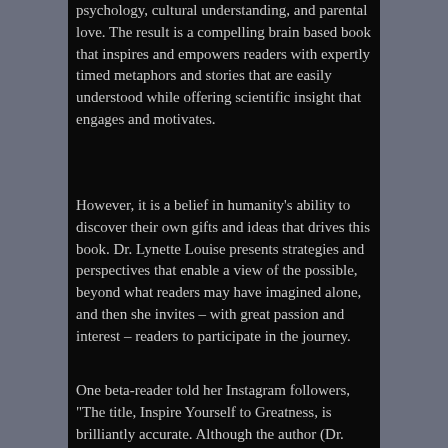psychology, cultural understanding, and parental love. The result is a compelling brain based book that inspires and empowers readers with expertly timed metaphors and stories that are easily understood while offering scientific insight that engages and motivates.
However, it is a belief in humanity's ability to discover their own gifts and ideas that drives this book. Dr. Lynette Louise presents strategies and perspectives that enable a view of the possible, beyond what readers may have imagined alone, and then she invites – with great passion and interest – readers to participate in the journey.
One beta-reader told her Instagram followers, "The title, Inspire Yourself to Greatness, is brilliantly accurate. Although the author (Dr.